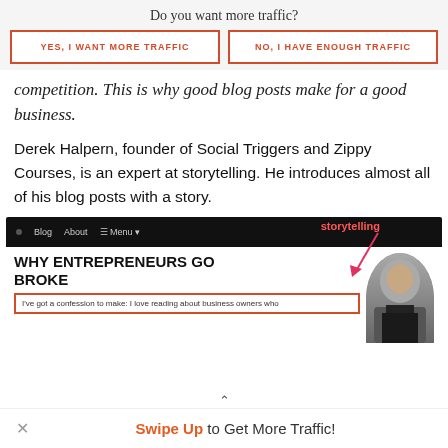Do you want more traffic?
YES, I WANT MORE TRAFFIC
NO, I HAVE ENOUGH TRAFFIC
competition. This is why good blog posts make for a good business.
Derek Halpern, founder of Social Triggers and Zippy Courses, is an expert at storytelling. He introduces almost all of his blog posts with a story.
[Figure (screenshot): Screenshot of a blog post titled 'WHY ENTREPRENEURS GO BROKE' with a storytelling annotation arrow pointing to an intro paragraph, and a photo of a man in a suit on the right.]
Swipe Up to Get More Traffic!